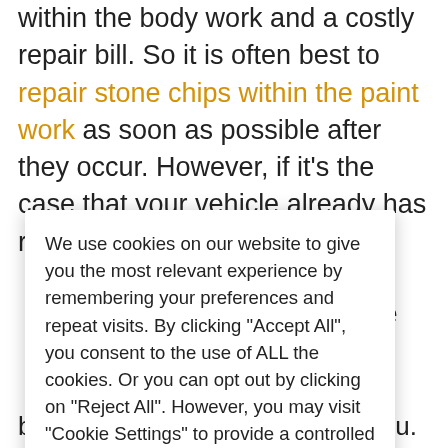within the body work and a costly repair bill. So it is often best to repair stone chips within the paint work as soon as possible after they occur. However, if it's the case that your vehicle already has rust, then the
We use cookies on our website to give you the most relevant experience by remembering your preferences and repeat visits. By clicking "Accept All", you consent to the use of ALL the cookies. Or you can opt out by clicking on "Reject All". However, you may visit "Cookie Settings" to provide a controlled consent.
bring our mobile body shop to you.